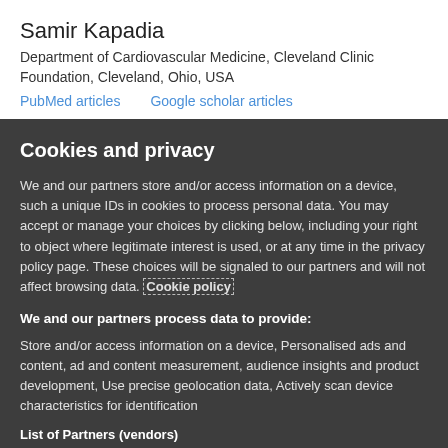Samir Kapadia
Department of Cardiovascular Medicine, Cleveland Clinic Foundation, Cleveland, Ohio, USA
PubMed articles   Google scholar articles
Cookies and privacy
We and our partners store and/or access information on a device, such as unique IDs in cookies to process personal data. You may accept or manage your choices by clicking below, including your right to object where legitimate interest is used, or at any time in the privacy policy page. These choices will be signaled to our partners and will not affect browsing data. Cookie policy
We and our partners process data to provide:
Store and/or access information on a device, Personalised ads and content, ad and content measurement, audience insights and product development, Use precise geolocation data, Actively scan device characteristics for identification
List of Partners (vendors)
I Accept